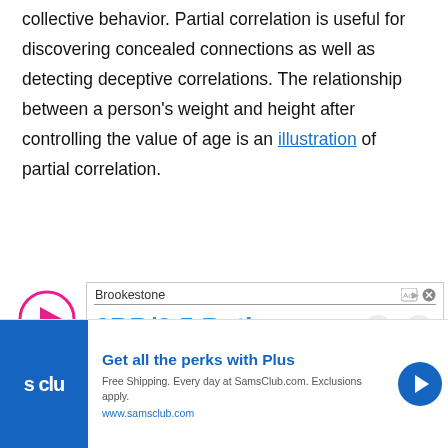collective behavior. Partial correlation is useful for discovering concealed connections as well as detecting deceptive correlations. The relationship between a person's weight and height after controlling the value of age is an illustration of partial correlation.
[Figure (other): Play button icon (pink/magenta circle with triangle) next to an advertisement box for Brookestone showing '2BR/2.5 Bath' text in blue]
[Figure (other): Bottom banner advertisement for Sam's Club Plus membership: 'Get all the perks with Plus' with blue background logo, free shipping offer, www.samsclub.com URL, and blue arrow button]